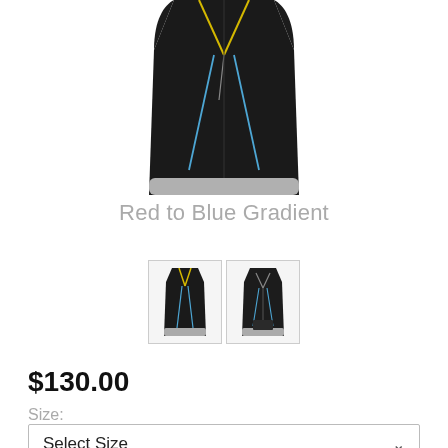[Figure (photo): Black cycling vest with yellow and blue X-pattern design lines on the front, shown from the front view, partially cropped at top]
Red to Blue Gradient
[Figure (photo): Two small thumbnail images of the black cycling vest: front view and back view]
$130.00
Size:
Select Size